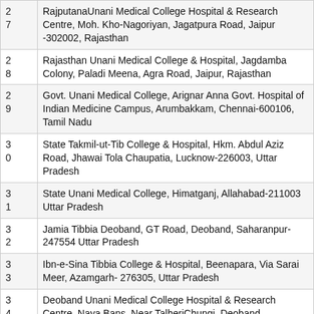| No. | Institution |
| --- | --- |
| 27 | RajputanaUnani Medical College Hospital & Research Centre, Moh. Kho-Nagoriyan, Jagatpura Road, Jaipur -302002, Rajasthan |
| 28 | Rajasthan Unani Medical College & Hospital, Jagdamba Colony, Paladi Meena, Agra Road, Jaipur, Rajasthan |
| 29 | Govt. Unani Medical College, Arignar Anna Govt. Hospital of Indian Medicine Campus, Arumbakkam, Chennai-600106, Tamil Nadu |
| 30 | State Takmil-ut-Tib College & Hospital, Hkm. Abdul Aziz Road, Jhawai Tola Chaupatia, Lucknow-226003, Uttar Pradesh |
| 31 | State Unani Medical College, Himatganj, Allahabad-211003 Uttar Pradesh |
| 32 | Jamia Tibbia Deoband, GT Road, Deoband, Saharanpur- 247554 Uttar Pradesh |
| 33 | Ibn-e-Sina Tibbia College & Hospital, Beenapara, Via Sarai Meer, Azamgarh- 276305, Uttar Pradesh |
| 34 | Deoband Unani Medical College Hospital & Research Centre, Naya Bans, Near TalheriChungi, Deoband, Saharanpur-247554, Uttar Pradesh |